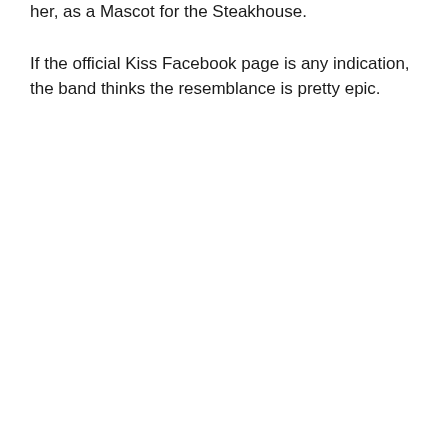her, as a Mascot for the Steakhouse.
If the official Kiss Facebook page is any indication, the band thinks the resemblance is pretty epic.